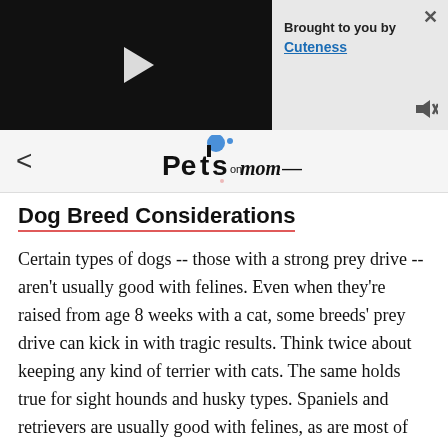[Figure (screenshot): Video player banner — black video area on left with play button, light grey panel on right with 'Brought to you by' label, 'Cuteness' link, close X button, and mute icon]
[Figure (logo): Pets on Mom logo with blue dot and stylized text]
Dog Breed Considerations
Certain types of dogs -- those with a strong prey drive -- aren't usually good with felines. Even when they're raised from age 8 weeks with a cat, some breeds' prey drive can kick in with tragic results. Think twice about keeping any kind of terrier with cats. The same holds true for sight hounds and husky types. Spaniels and retrievers are usually good with felines, as are most of the breeds in the American Kennel Club's non-